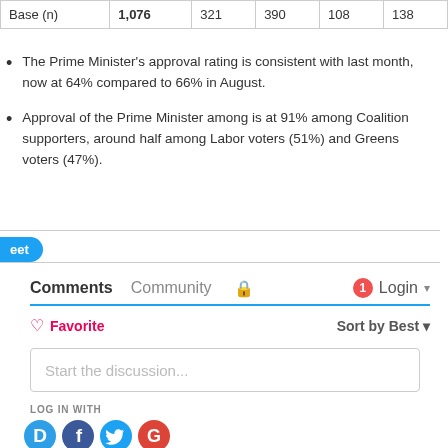| Base (n) | 1,076 | 321 | 390 | 108 | 138 |
| --- | --- | --- | --- | --- | --- |
The Prime Minister's approval rating is consistent with last month, now at 64% compared to 66% in August.
Approval of the Prime Minister among is at 91% among Coalition supporters, around half among Labor voters (51%) and Greens voters (47%).
Comments  Community  [lock]  [1] Login
♡ Favorite   Sort by Best
Start the discussion...
LOG IN WITH
[Figure (logo): Social login icons: Disqus (D), Facebook (F), Twitter bird, Google (G)]